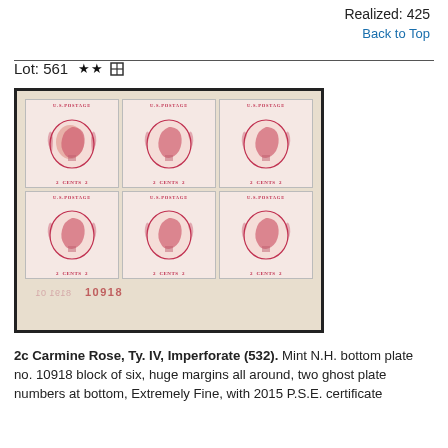Realized: 425
Back to Top
Lot: 561 ★★⊞
[Figure (photo): A block of six 2-cent carmine rose U.S. postage stamps, imperforate, featuring a portrait of George Washington. The block shows plate number 10918 at the bottom margin, with ghost plate numbers also visible. The stamps are arranged in a 2×3 grid with large margins.]
2c Carmine Rose, Ty. IV, Imperforate (532). Mint N.H. bottom plate no. 10918 block of six, huge margins all around, two ghost plate numbers at bottom, Extremely Fine, with 2015 P.S.E. certificate